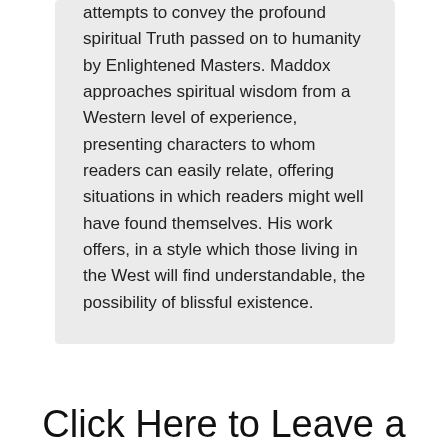attempts to convey the profound spiritual Truth passed on to humanity by Enlightened Masters. Maddox approaches spiritual wisdom from a Western level of experience, presenting characters to whom readers can easily relate, offering situations in which readers might well have found themselves. His work offers, in a style which those living in the West will find understandable, the possibility of blissful existence.
Click Here to Leave a